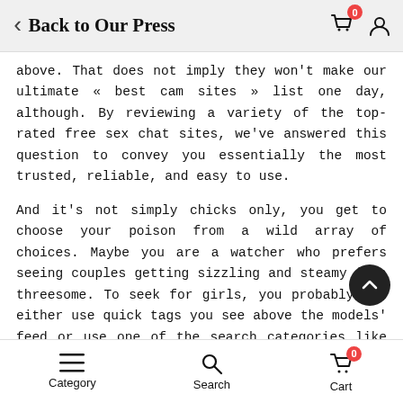Back to Our Press
above. That does not imply they won't make our ultimate « best cam sites » list one day, although. By reviewing a variety of the top-rated free sex chat sites, we've answered this question to convey you essentially the most trusted, reliable, and easy to use.
And it's not simply chicks only, you get to choose your poison from a wild array of choices. Maybe you are a watcher who prefers seeing couples getting sizzling and steamy in a threesome. To seek for girls, you probably can either use quick tags you see above the models' feed or use one of the search categories like New, Nude, BDSM, Bisexual, Latina, Mature, and so forth. If you don't need to waste looking for the most popular fashions, Firecams has
Category   Search   Cart